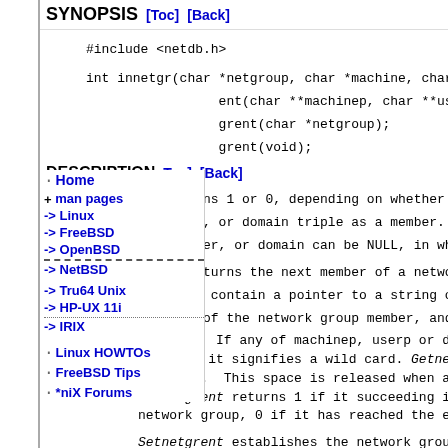SYNOPSIS [Toc] [Back]
#include <netdb.h>
int innetgr(char *netgroup, char *machine, char *user,
ent(char **machinep, char **userp, char **
grent(char *netgroup);
grent(void);
DESCRIPTION [Toc] [Back]
urns 1 or 0, depending on whether netgroup
er, or domain triple as a member. Any of t
er, or domain can be NULL, in which case it
returns the next member of a network group
l contain a pointer to a string containing
: of the network group member, and similarl
domainp. If any of machinep, userp or domainp is retu
pointer, it signifies a wild card. Getnetgrent will ma
the name. This space is released when a endnetgrent c
Getnetgrent returns 1 if it succeeding in obtaining an
network group, 0 if it has reached the end of the grou
Setnetgrent establishes the network group from which g
obtain members, and also restarts calls to getnetgrent
of the list. If the previous setnetgrent call was to
group and there has been no intervening call to endpne